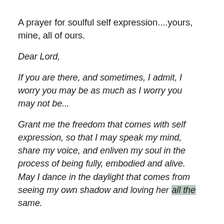A prayer for soulful self expression....yours, mine, all of ours.
Dear Lord,
If you are there, and sometimes, I admit, I worry you may be as much as I worry you may not be...
Grant me the freedom that comes with self expression, so that I may speak my mind, share my voice, and enliven my soul in the process of being fully, embodied and alive. May I dance in the daylight that comes from seeing my own shadow and loving her all the same.